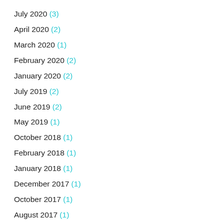July 2020 (3)
April 2020 (2)
March 2020 (1)
February 2020 (2)
January 2020 (2)
July 2019 (2)
June 2019 (2)
May 2019 (1)
October 2018 (1)
February 2018 (1)
January 2018 (1)
December 2017 (1)
October 2017 (1)
August 2017 (1)